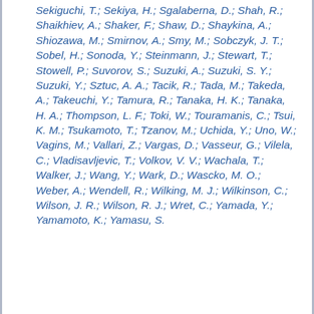Sekiguchi, T.; Sekiya, H.; Sgalaberna, D.; Shah, R.; Shaikhiev, A.; Shaker, F.; Shaw, D.; Shaykina, A.; Shiozawa, M.; Smirnov, A.; Smy, M.; Sobczyk, J. T.; Sobel, H.; Sonoda, Y.; Steinmann, J.; Stewart, T.; Stowell, P.; Suvorov, S.; Suzuki, A.; Suzuki, S. Y.; Suzuki, Y.; Sztuc, A. A.; Tacik, R.; Tada, M.; Takeda, A.; Takeuchi, Y.; Tamura, R.; Tanaka, H. K.; Tanaka, H. A.; Thompson, L. F.; Toki, W.; Touramanis, C.; Tsui, K. M.; Tsukamoto, T.; Tzanov, M.; Uchida, Y.; Uno, W.; Vagins, M.; Vallari, Z.; Vargas, D.; Vasseur, G.; Vilela, C.; Vladisavljevic, T.; Volkov, V. V.; Wachala, T.; Walker, J.; Wang, Y.; Wark, D.; Wascko, M. O.; Weber, A.; Wendell, R.; Wilking, M. J.; Wilkinson, C.; Wilson, J. R.; Wilson, R. J.; Wret, C.; Yamada, Y.; Yamamoto, K.; Yamasu, S.